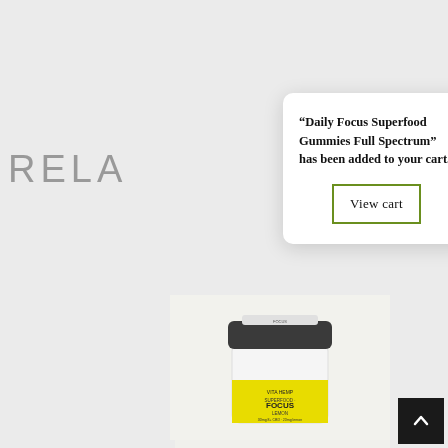RELA
“Daily Focus Superfood Gummies Full Spectrum” has been added to your cart.
View cart
[Figure (photo): A white cylindrical container of Vita Hemp Daily Focus Lemon gummies with a dark grey lid, featuring a yellow label with FOCUS branding, on a light background.]